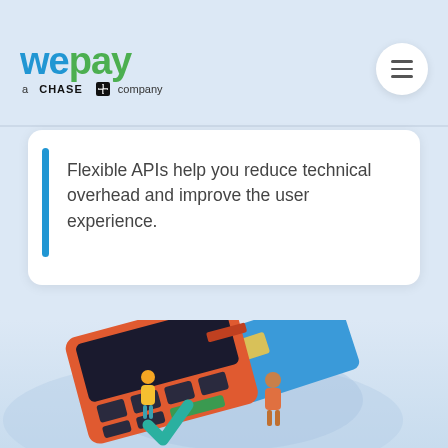wepay — a CHASE company
Flexible APIs help you reduce technical overhead and improve the user experience.
[Figure (illustration): A blurred product photo showing an orange/red POS card reader terminal with a blue credit card being inserted, and two small illustrated people figures below it, set against a light blue gradient background.]